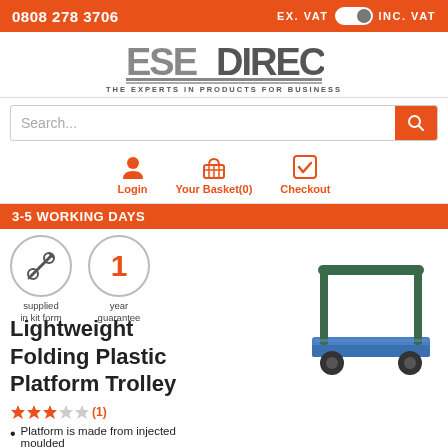0808 278 3706  EX. VAT  INC. VAT
[Figure (logo): ESE Direct logo with tagline THE EXPERTS IN PRODUCTS FOR BUSINESS]
Search...
Login  Your Basket(0)  Checkout
3-5 WORKING DAYS
[Figure (infographic): supplied in kit form icon (wrench/spanner cross)]
[Figure (infographic): 1 year guarantee badge]
Lightweight Folding Plastic Platform Trolley
[Figure (photo): Blue platform trolley with green handle frame and black wheels]
★★★☆☆ (1)
Platform is made from injected moulded